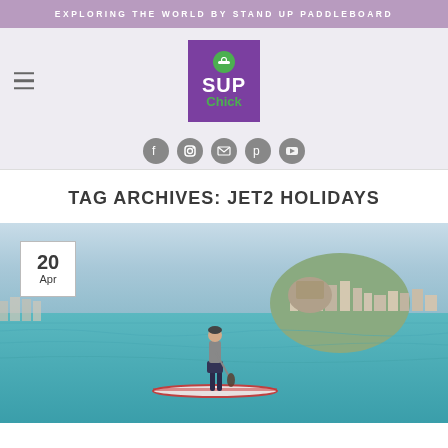EXPLORING THE WORLD BY STAND UP PADDLEBOARD
[Figure (logo): SUP Chick logo — purple square with green circle icon, white SUP text, green Chick text]
[Figure (infographic): Row of social media icons: Facebook, Instagram, Email, Pinterest, YouTube]
TAG ARCHIVES: JET2 HOLIDAYS
[Figure (photo): Person stand-up paddleboarding on turquoise water with a coastal town and hillside buildings in the background. Date badge showing '20 Apr' overlaid on top-left.]